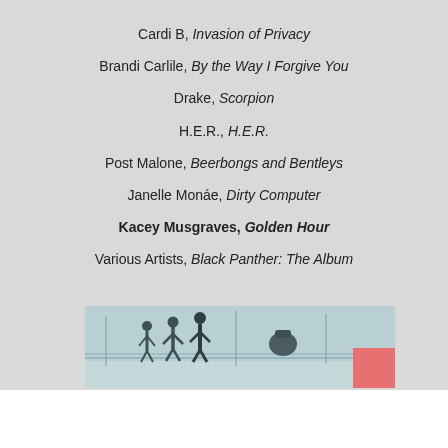Cardi B, Invasion of Privacy
Brandi Carlile, By the Way I Forgive You
Drake, Scorpion
H.E.R., H.E.R.
Post Malone, Beerbongs and Bentleys
Janelle Monáe, Dirty Computer
Kacey Musgraves, Golden Hour
Various Artists, Black Panther: The Album
[Figure (photo): A street scene with pedestrian silhouettes and a pink/red block on the right side]